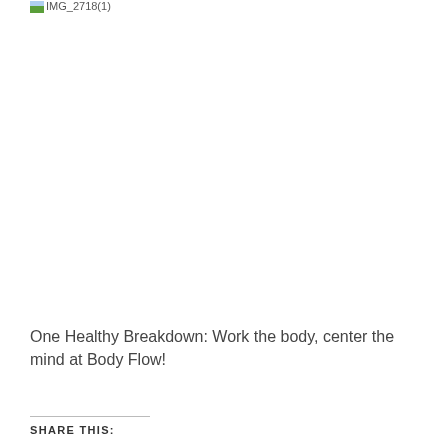[Figure (photo): Broken/missing image placeholder labeled IMG_2718(1)]
One Healthy Breakdown: Work the body, center the mind at Body Flow!
SHARE THIS: